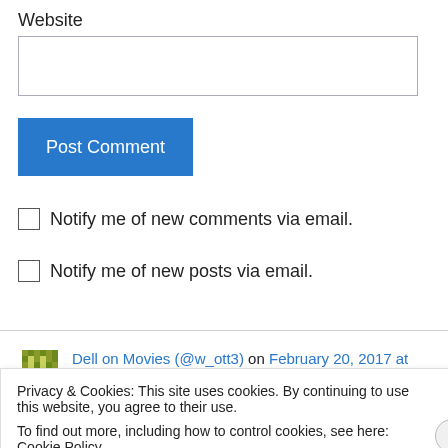Website
[Figure (other): Text input field for website URL]
[Figure (other): Post Comment button (blue)]
Notify me of new comments via email.
Notify me of new posts via email.
Dell on Movies (@w_ott3) on February 20, 2017 at
Privacy & Cookies: This site uses cookies. By continuing to use this website, you agree to their use.
To find out more, including how to control cookies, see here: Cookie Policy
[Figure (other): Close and accept button for cookie banner]